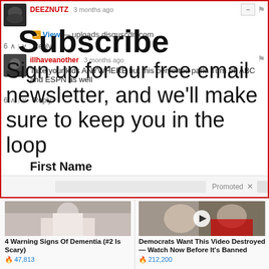DEEZNUTZ · 3 months ago
View — uploads.disquscdn.com ...
Subscribe
Sign up for our free email newsletter, and we'll make sure to keep you in the loop
First Name
illhaveanother · 3 months ago
Take your kids ANYWHERE but this perverted park. Turn off ABC and ESPN as well
Promoted
[Figure (photo): Person sitting on bed, appearing elderly or ill]
4 Warning Signs Of Dementia (#2 Is Scary)
47,813
[Figure (photo): Two people at an event, political figures, with play button overlay]
Democrats Want This Video Destroyed — Watch Now Before It's Banned
212,200